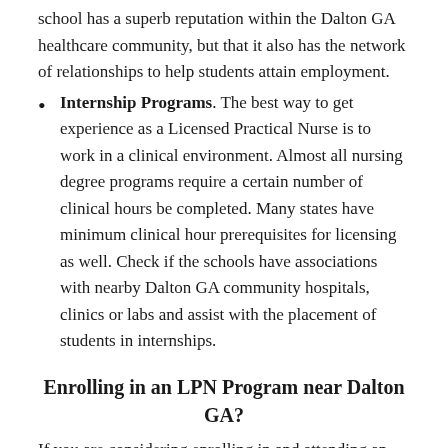school has a superb reputation within the Dalton GA healthcare community, but that it also has the network of relationships to help students attain employment.
Internship Programs. The best way to get experience as a Licensed Practical Nurse is to work in a clinical environment. Almost all nursing degree programs require a certain number of clinical hours be completed. Many states have minimum clinical hour prerequisites for licensing as well. Check if the schools have associations with nearby Dalton GA community hospitals, clinics or labs and assist with the placement of students in internships.
Enrolling in an LPN Program near Dalton GA?
If you are considering enrolling in and attending an LPN school near Dalton GA, you may find the following information both interesting and useful when making your